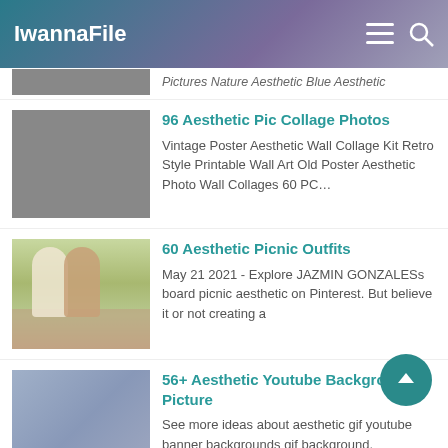IwannaFile
Pictures Nature Aesthetic Blue Aesthetic
96 Aesthetic Pic Collage Photos
Vintage Poster Aesthetic Wall Collage Kit Retro Style Printable Wall Art Old Poster Aesthetic Photo Wall Collages 60 PC…
60 Aesthetic Picnic Outfits
May 21 2021 - Explore JAZMIN GONZALESs board picnic aesthetic on Pinterest. But believe it or not creating a
56+ Aesthetic Youtube Background Picture
See more ideas about aesthetic gif youtube banner backgrounds gif background.
74 Indie Kid Aesthetic Picnic
Pin by spicychicken on hi. Aesthetic indiekidfilter picnic summer cowboyhat yellow chill teenager vibes. In…